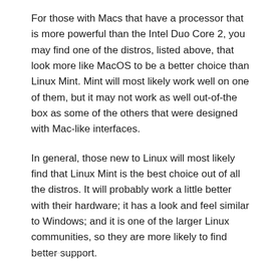For those with Macs that have a processor that is more powerful than the Intel Duo Core 2, you may find one of the distros, listed above, that look more like MacOS to be a better choice than Linux Mint. Mint will most likely work well on one of them, but it may not work as well out-of-the box as some of the others that were designed with Mac-like interfaces.
In general, those new to Linux will most likely find that Linux Mint is the best choice out of all the distros. It will probably work a little better with their hardware; it has a look and feel similar to Windows; and it is one of the larger Linux communities, so they are more likely to find better support.
To install Linux Mint, visit the Website.